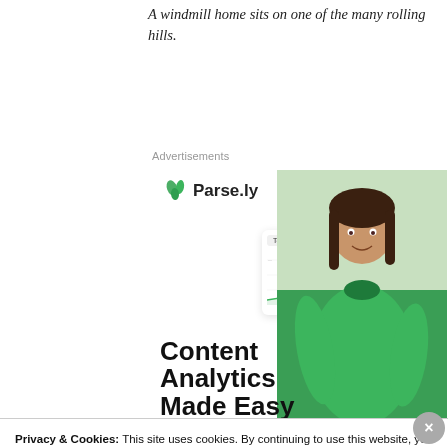A windmill home sits on one of the many rolling hills.
Advertisements
[Figure (photo): Parse.ly advertisement banner featuring a woman in a green sweater smiling, a dashboard analytics screenshot, and the headline 'Content Analytics Made Easy' with a green call-to-action button.]
Privacy & Cookies: This site uses cookies. By continuing to use this website, you agree to their use.
To find out more, including how to control cookies, see here:
Cookie Policy
Close and accept